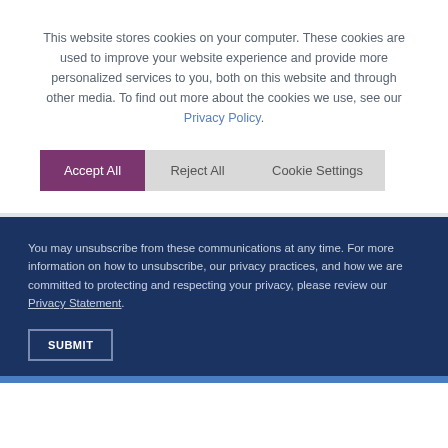This website stores cookies on your computer. These cookies are used to improve your website experience and provide more personalized services to you, both on this website and through other media. To find out more about the cookies we use, see our Privacy Policy.
Accept All | Reject All | Cookie Settings
You may unsubscribe from these communications at any time. For more information on how to unsubscribe, our privacy practices, and how we are committed to protecting and respecting your privacy, please review our Privacy Statement.
SUBMIT